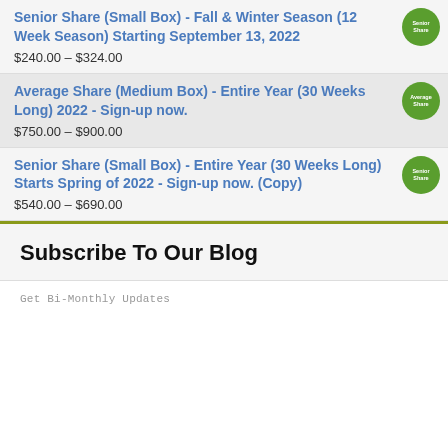Senior Share (Small Box) - Fall & Winter Season (12 Week Season) Starting September 13, 2022
$240.00 – $324.00
Average Share (Medium Box) - Entire Year (30 Weeks Long) 2022 - Sign-up now.
$750.00 – $900.00
Senior Share (Small Box) - Entire Year (30 Weeks Long) Starts Spring of 2022 - Sign-up now. (Copy)
$540.00 – $690.00
Subscribe To Our Blog
Get Bi-Monthly Updates